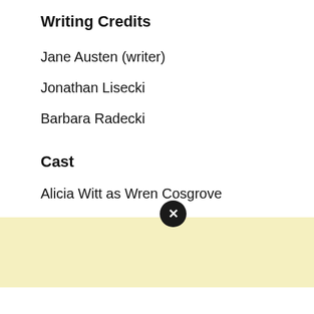Writing Credits
Jane Austen (writer)
Jonathan Lisecki
Barbara Radecki
Cast
Alicia Witt as Wren Cosgrove
Bebe Neuwirth as Vanessa Perry
Daniella Pineda as Kate Grant
Liza Lapira as Lizzie Lynch
Li Jun Li as Rebecca Duvalier
Dominic Palermo as ...
Adrienne C. Moore as Denise Jones